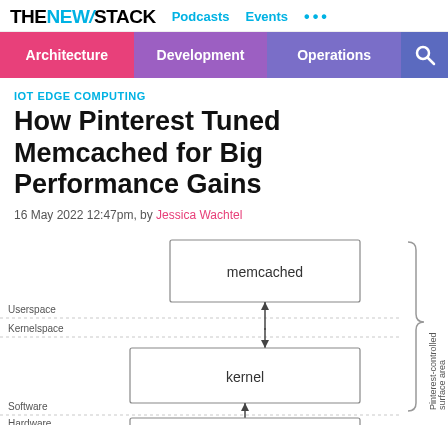THE NEW STACK  Podcasts  Events  ...
Architecture  Development  Operations
IOT EDGE COMPUTING
How Pinterest Tuned Memcached for Big Performance Gains
16 May 2022 12:47pm, by Jessica Wachtel
[Figure (engineering-diagram): Architecture diagram showing memcached in Userspace connected via bidirectional arrow to kernel in Kernelspace, with an upward arrow from Software/Hardware layer below. A curly brace on the right labels the Userspace and Kernelspace region as 'Pinterest-controlled surface area'. Labels on left: Userspace, Kernelspace, Software, Hardware.]